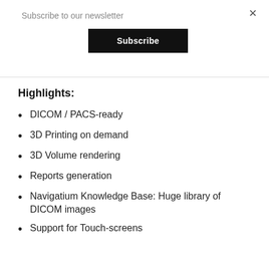Subscribe to our newsletter
Subscribe
Highlights:
DICOM / PACS-ready
3D Printing on demand
3D Volume rendering
Reports generation
Navigatium Knowledge Base: Huge library of DICOM images
Support for Touch-screens